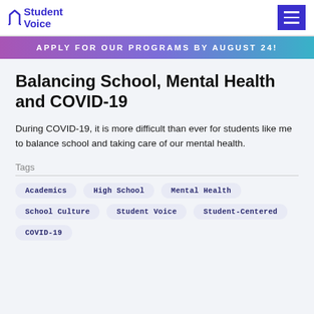Student Voice
APPLY FOR OUR PROGRAMS BY AUGUST 24!
Balancing School, Mental Health and COVID-19
During COVID-19, it is more difficult than ever for students like me to balance school and taking care of our mental health.
Tags
Academics
High School
Mental Health
School Culture
Student Voice
Student-Centered
COVID-19